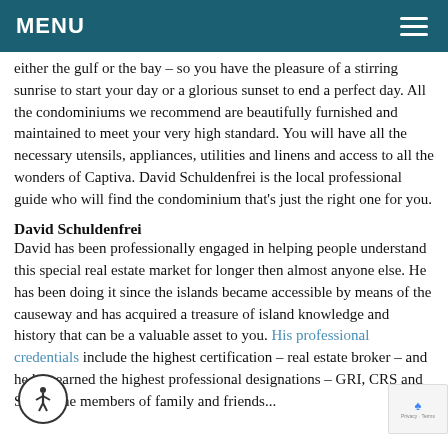MENU
either the gulf or the bay – so you have the pleasure of a stirring sunrise to start your day or a glorious sunset to end a perfect day. All the condominiums we recommend are beautifully furnished and maintained to meet your very high standard. You will have all the necessary utensils, appliances, utilities and linens and access to all the wonders of Captiva. David Schuldenfrei is the local professional guide who will find the condominium that's just the right one for you.
David Schuldenfrei
David has been professionally engaged in helping people understand this special real estate market for longer then almost anyone else. He has been doing it since the islands became accessible by means of the causeway and has acquired a treasure of island knowledge and history that can be a valuable asset to you. His professional credentials include the highest certification – real estate broker – and he has earned the highest professional designations – GRI, CRS and SCIS. The members of family and friends...